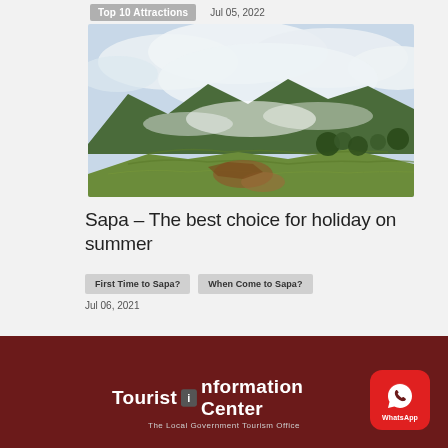Top 10 Attractions   Jul 05, 2022
[Figure (photo): Aerial landscape photo of terraced rice fields and mountains in Sapa, Vietnam, with clouds and mist over lush green hills]
Sapa – The best choice for holiday on summer
First Time to Sapa?   When Come to Sapa?
Jul 06, 2021
[Figure (logo): Tourist Information Center logo with WhatsApp button on dark red footer background. Text reads: Tourist Information Center, The Local Government Tourism Office]